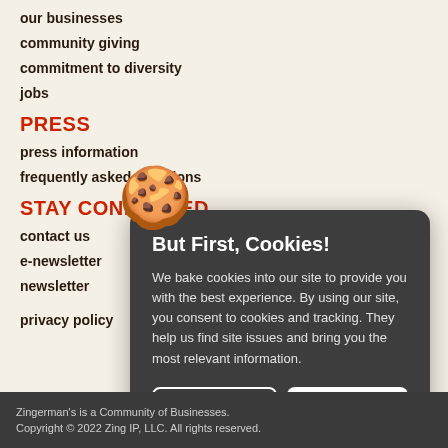our businesses
community giving
commitment to diversity
jobs
PRESS
press information
frequently asked questions
STAY CONNECTED
contact us
e-newsletter
newsletter
privacy policy
But First, Cookies!
We bake cookies into our site to provide you with the best experience. By using our site, you consent to cookies and tracking. They help us find site issues and bring you the most relevant information.
Learn More
Accept & Continue
Zingerman's is a Community of Businesses.
Copyright © 2022 Zing IP, LLC. All rights reserved.